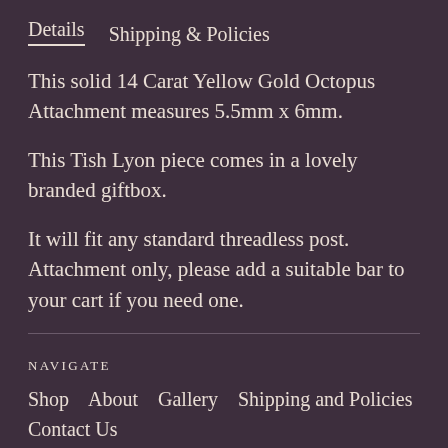Details   Shipping & Policies
This solid 14 Carat Yellow Gold Octopus Attachment measures 5.5mm x 6mm.
This Tish Lyon piece comes in a lovely branded giftbox.
It will fit any standard threadless post. Attachment only, please add a suitable bar to your cart if you need one.
NAVIGATE
Shop   About   Gallery   Shipping and Policies
Contact Us